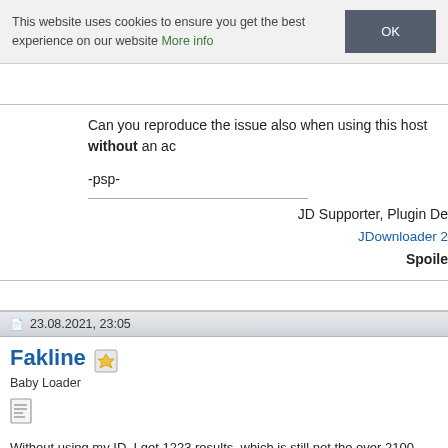This website uses cookies to ensure you get the best experience on our website More info OK
Can you reproduce the issue also when using this host without an ac
-psp-
JD Supporter, Plugin De
JDownloader 2
Spoile
23.08.2021, 23:05
Fakline
Baby Loader
Without using my ID, I get 1223 results, which is still not the over 2100
With my Gold account API key properly setup in the plugin, I get 61 re
Given how Danbooru works, yes it is possible that a single page can r
Typically when some posts are hidden (usually banned artists). For ins
displays less than 20 results in the first 4 pages, and only tells that so
I don't even get all of the results even with my Gold account anyway.
While I'm at it, I've just noticed that JDownloader only gets the post ID